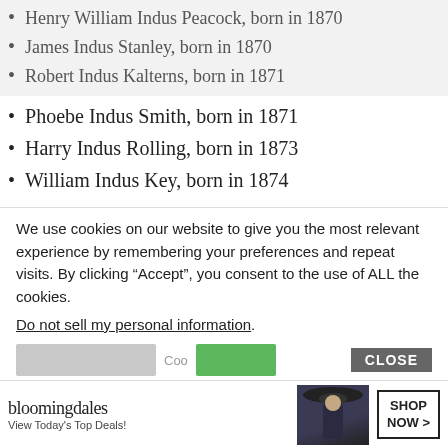Henry William Indus Peacock, born in 1870
James Indus Stanley, born in 1870
Robert Indus Kalterns, born in 1871
Phoebe Indus Smith, born in 1871
Harry Indus Rolling, born in 1873
William Indus Key, born in 1874
Intrinsic:
Elizabeth Intrinsic Kidd, born in 1841
Invererne:
We use cookies on our website to give you the most relevant experience by remembering your preferences and repeat visits. By clicking “Accept”, you consent to the use of ALL the cookies.
Do not sell my personal information.
[Figure (screenshot): Cookie consent buttons row with gray button, green Accept button, and CLOSE button]
[Figure (screenshot): Bloomingdale's advertisement banner: 'View Today's Top Deals!' with SHOP NOW button and model photo]